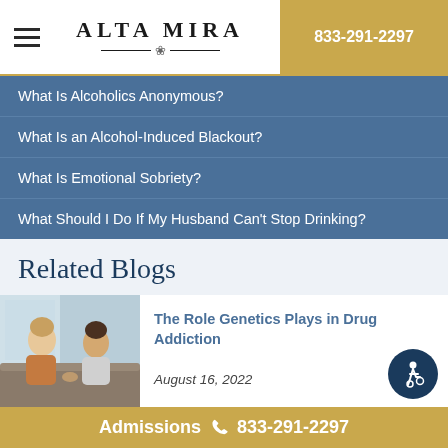ALTA MIRA | 833-291-2297
What Is Alcoholics Anonymous?
What Is an Alcohol-Induced Blackout?
What Is Emotional Sobriety?
What Should I Do If My Husband Can't Stop Drinking?
Related Blogs
[Figure (photo): Two women sitting on a couch talking, one appears to be a counselor or friend listening attentively]
The Role Genetics Plays in Drug Addiction
August 16, 2022
Admissions 833-291-2297